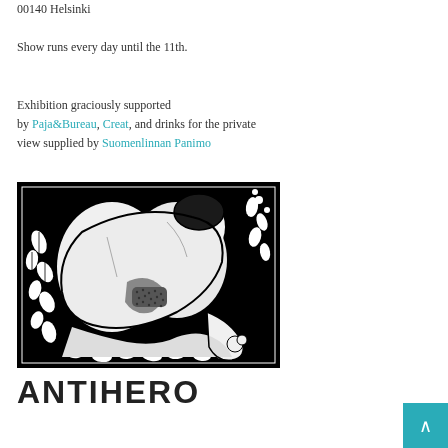00140 Helsinki
Show runs every day until the 11th.
Exhibition graciously supported by Paja&Bureau, Creat, and drinks for the private view supplied by Suomenlinnan Panimo
[Figure (illustration): Black and white illustration/linocut-style artwork showing abstract human figure forms surrounded by floral/leaf patterns on a black background]
ANTIHERO